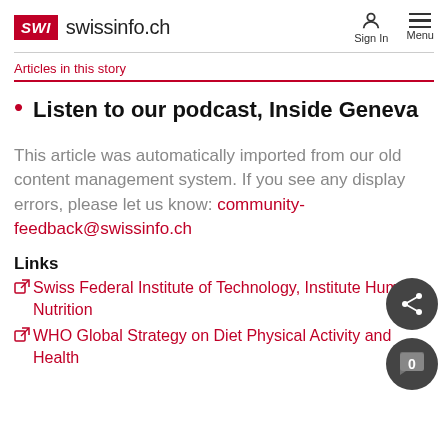SWI swissinfo.ch — Sign In  Menu
Articles in this story
Listen to our podcast, Inside Geneva
This article was automatically imported from our old content management system. If you see any display errors, please let us know: community-feedback@swissinfo.ch
Links
Swiss Federal Institute of Technology, Institute Human Nutrition
WHO Global Strategy on Diet Physical Activity and Health